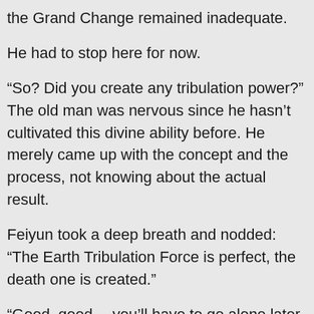the Grand Change remained inadequate.
He had to stop here for now.
“So? Did you create any tribulation power?” The old man was nervous since he hasn’t cultivated this divine ability before. He merely came up with the concept and the process, not knowing about the actual result.
Feiyun took a deep breath and nodded: “The Earth Tribulation Force is perfect, the death one is created.”
“Good, good… you’ll have to go alone later, fix the divine ability if there are flaws…” The old man said.
“Senior…” Feiyun became emotional.
“We will…